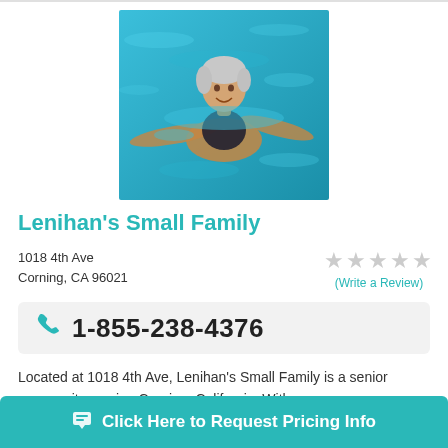[Figure (photo): Elderly woman swimming in a blue pool, smiling at the camera]
Lenihan's Small Family
1018 4th Ave
Corning, CA 96021
★★★★★ (Write a Review)
1-855-238-4376
Located at 1018 4th Ave, Lenihan's Small Family is a senior community serving Corning, California. With an av... in... n
Click Here to Request Pricing Info